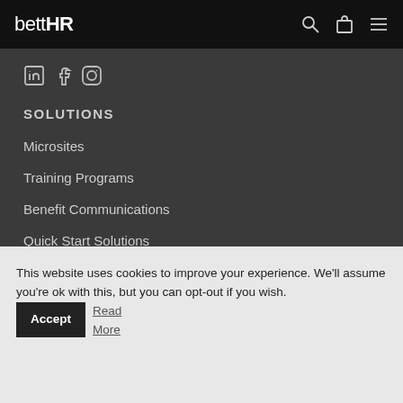bettHR
[Figure (logo): bettHR logo in white on black navigation bar with search, bag, and menu icons on the right]
[Figure (infographic): Social media icons: LinkedIn (in), Facebook (f), Instagram (camera) in grey]
SOLUTIONS
Microsites
Training Programs
Benefit Communications
Quick Start Solutions
This website uses cookies to improve your experience. We'll assume you're ok with this, but you can opt-out if you wish. Accept Read More